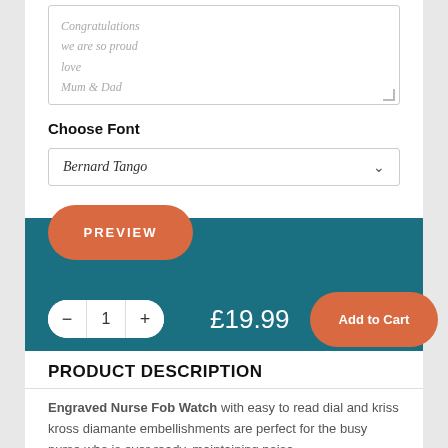[Figure (screenshot): Text area input box with placeholder text showing: Congratulations / we are so proud / love / Mum & Dad]
Choose Font
[Figure (screenshot): Dropdown selector showing 'Bernard Tango' font selected with a chevron arrow on the right]
[Figure (screenshot): PREVIEW button (orange/coral rounded), teal background bar, quantity controls (minus, 1, plus), price £19.99, Add to Cart button (orange/coral rounded)]
PRODUCT DESCRIPTION
Engraved Nurse Fob Watch with easy to read dial and kriss kross diamante embellishments are perfect for the busy nurse who is ever ready, maintaining poise